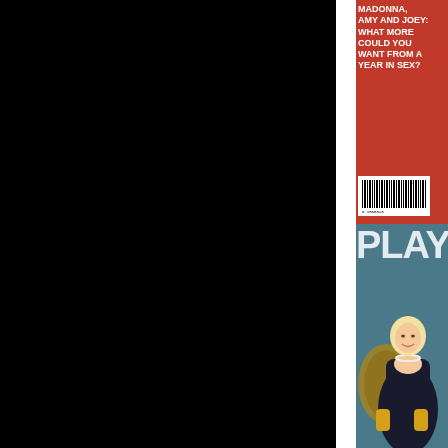[Figure (photo): Left portion mostly black/dark background with faint silhouette figure, occupying approximately 75% of page width]
[Figure (photo): Top right: Playboy magazine cover with red background, white bold text reading 'MADONNA, AMY AND JOEY: WHAT MORE COULD YOU WANT FROM A YEAR IN SEX?' with barcode at bottom left of cover]
MADONNA, AMY AND JOEY: WHAT MORE COULD YOU WANT FROM A YEAR IN SEX?
[Figure (photo): Bottom right: Playboy magazine cover with teal/blue background, large 'PLAY' logo at top, 'ENTERTAINMENT FOR ME' subtext, blonde woman in dark evening gown with pearl necklace and gold gloves seated in ornate chair]
ENTERTAINMENT FOR ME